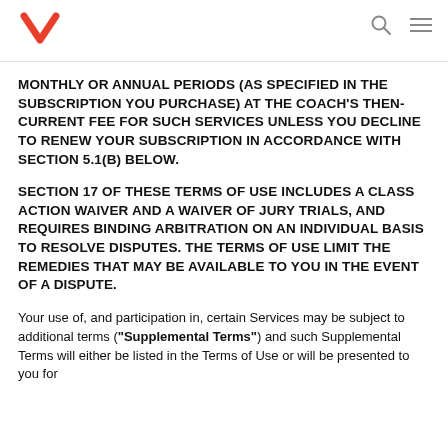Yummly logo, search icon, menu icon
MONTHLY OR ANNUAL PERIODS (AS SPECIFIED IN THE SUBSCRIPTION YOU PURCHASE) AT THE COACH'S THEN-CURRENT FEE FOR SUCH SERVICES UNLESS YOU DECLINE TO RENEW YOUR SUBSCRIPTION IN ACCORDANCE WITH SECTION 5.1(B) BELOW.
SECTION 17 OF THESE TERMS OF USE INCLUDES A CLASS ACTION WAIVER AND A WAIVER OF JURY TRIALS, AND REQUIRES BINDING ARBITRATION ON AN INDIVIDUAL BASIS TO RESOLVE DISPUTES. THE TERMS OF USE LIMIT THE REMEDIES THAT MAY BE AVAILABLE TO YOU IN THE EVENT OF A DISPUTE.
Your use of, and participation in, certain Services may be subject to additional terms ("Supplemental Terms") and such Supplemental Terms will either be listed in the Terms of Use or will be presented to you for